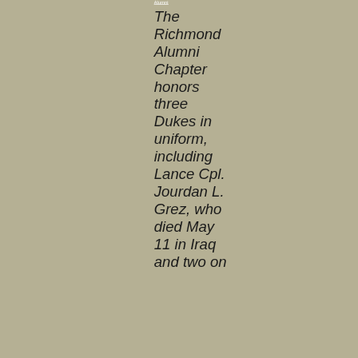Alumni
The Richmond Alumni Chapter honors three Dukes in uniform, including Lance Cpl. Jourdan L. Grez, who died May 11 in Iraq and two on